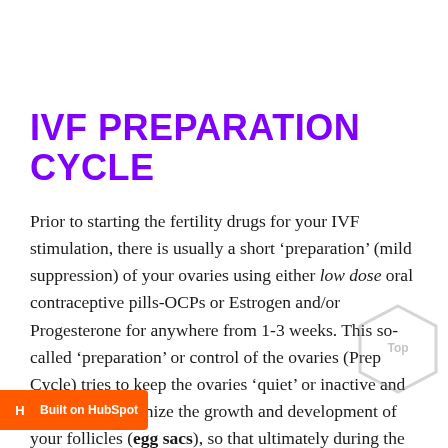IVF PREPARATION CYCLE
Prior to starting the fertility drugs for your IVF stimulation, there is usually a short 'preparation' (mild suppression) of your ovaries using either low dose oral contraceptive pills-OCPs or Estrogen and/or Progesterone for anywhere from 1-3 weeks. This so-called 'preparation' or control of the ovaries (Prep Cycle) tries to keep the ovaries 'quiet' or inactive and helps to synchronize the growth and development of your follicles (egg sacs), so that ultimately during the [stimulation] we can get more eggs. For [example, during the IVF stimulation process, the]
[Figure (other): HubSpot badge at bottom left: orange rectangle with HubSpot sprocket icon and text 'Built on HubSpot']
[Figure (other): Hexagon watermark graphic in bottom-right corner with 'Top' text]